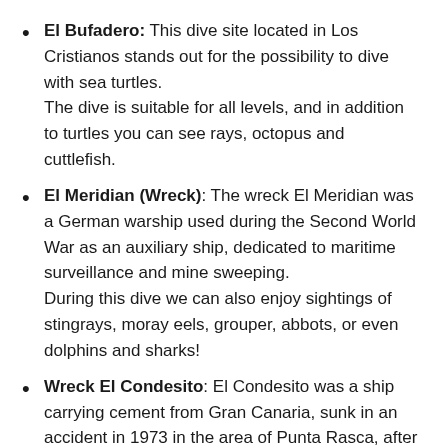El Bufadero: This dive site located in Los Cristianos stands out for the possibility to dive with sea turtles. The dive is suitable for all levels, and in addition to turtles you can see rays, octopus and cuttlefish.
El Meridian (Wreck): The wreck El Meridian was a German warship used during the Second World War as an auxiliary ship, dedicated to maritime surveillance and mine sweeping. During this dive we can also enjoy sightings of stingrays, moray eels, grouper, abbots, or even dolphins and sharks!
Wreck El Condesito: El Condesito was a ship carrying cement from Gran Canaria, sunk in an accident in 1973 in the area of Punta Rasca, after hitting the rocks during a storm.